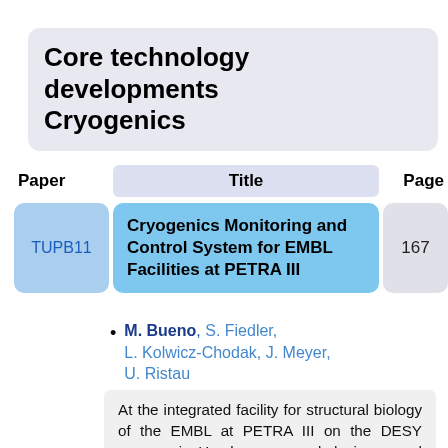Core technology developments Cryogenics
| Paper | Title | Page |
| --- | --- | --- |
| TUPB11 | Cryogenics Monitoring and Control System for EMBL Facilities at PETRA III | 167 |
M. Bueno, S. Fiedler, L. Kolwicz-Chodak, J. Meyer, U. Ristau
EMBL, Hamburg, Germany
At the integrated facility for structural biology of the EMBL at PETRA III on the DESY campus in Hamburg, several devices need cryogenic cooling with liquid nitrogen (LN2): cryo-coolers